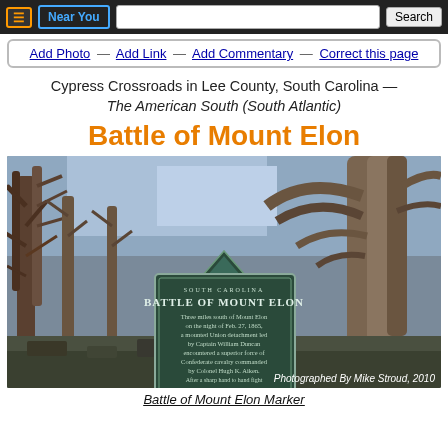≡  Near You  [search box]  Search
Add Photo — Add Link — Add Commentary — Correct this page
Cypress Crossroads in Lee County, South Carolina — The American South (South Atlantic)
Battle of Mount Elon
[Figure (photo): Photograph of a South Carolina historical marker for the Battle of Mount Elon, mounted on a post outdoors among bare winter trees. The marker reads: 'SOUTH CAROLINA / BATTLE OF MOUNT ELON / Three miles south of Mount Elon on the night of Feb. 27, 1865, a mounted Union detachment led by Captain William Duncan encountered a superior force of Confederate cavalry commanded by Colonel Hugh K. Aiken. After a sharp hand to hand fight Captain Duncan was forced to fall back across Lynches River. Colonel Aiken was killed.' Photo credit: Photographed By Mike Stroud, 2010]
Battle of Mount Elon Marker